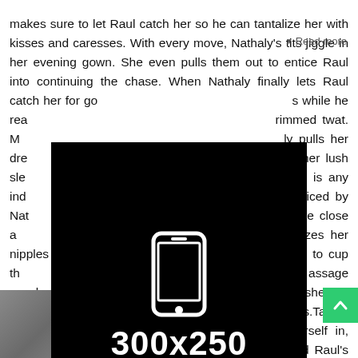her boyfriend Raul. Sister, she gives him a flirty chase, but makes sure to let Raul catch her so he can tantalize her with kisses and caresses. With every move, Nathaly's tits jiggle in her evening gown. She even pulls them out to entice Raul into continuing the chase. When Nathaly finally lets Raul catch her for good... [partially obscured by ad overlay] ...standing position so she can spring his hardon free of the confines of his clothes. Taking advantage of the position of power she finds herself in, Nathaly wraps her warm hand and puffy lips around Raul's fuck stick. Sucking and stroking, she works his passion to another level. Then she guides him to the couch so she can truly focus on deep throating his dick and rearing back!
[Figure (other): 300x250 mobile ad placeholder — black background with white smartphone icon, bold white text '300x250', and grey text 'mobile ad']
[Figure (photo): Partially visible photo at the bottom of the page, obscured by the ad overlay and bottom text]